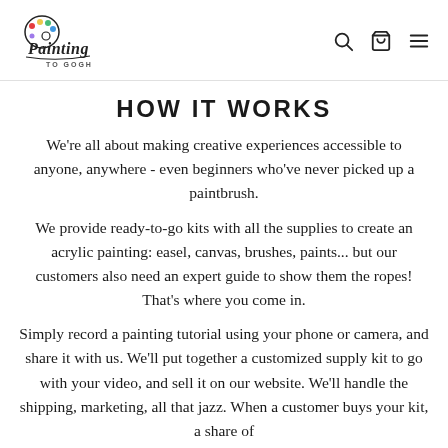[Figure (logo): Painting to Gogh logo with colorful palette icon and stylized script text]
HOW IT WORKS
We're all about making creative experiences accessible to anyone, anywhere - even beginners who've never picked up a paintbrush.
We provide ready-to-go kits with all the supplies to create an acrylic painting: easel, canvas, brushes, paints... but our customers also need an expert guide to show them the ropes! That's where you come in.
Simply record a painting tutorial using your phone or camera, and share it with us. We'll put together a customized supply kit to go with your video, and sell it on our website. We'll handle the shipping, marketing, all that jazz. When a customer buys your kit, a share of